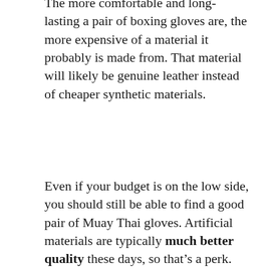The more comfortable and long-lasting a pair of boxing gloves are, the more expensive of a material it probably is made from. That material will likely be genuine leather instead of cheaper synthetic materials.
Even if your budget is on the low side, you should still be able to find a good pair of Muay Thai gloves. Artificial materials are typically much better quality these days, so that's a perk.
SYNTHETIC LEATHER MUAY THAI GLOVES
Synthetic leather (otherwise known as